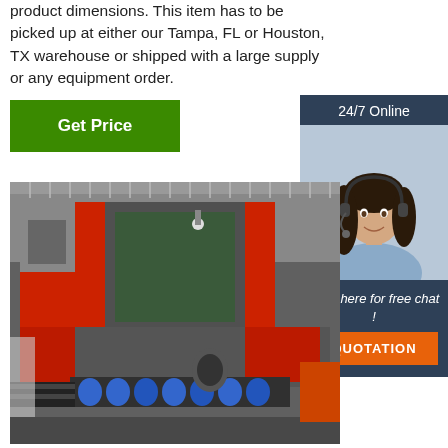product dimensions. This item has to be picked up at either our Tampa, FL or Houston, TX warehouse or shipped with a large supply or any equipment order.
[Figure (other): Green 'Get Price' button]
[Figure (other): 24/7 Online customer service representative with headset, dark background sidebar with 'Click here for free chat!' text and orange QUOTATION button]
[Figure (photo): Industrial band saw machine in a warehouse/factory setting, red and grey colored, with blue rollers visible in the foreground, pipes being cut]